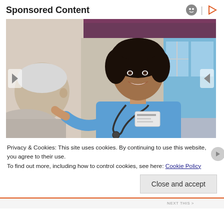Sponsored Content
[Figure (photo): A smiling female nurse or healthcare worker in blue scrubs with a stethoscope and name badge, interacting with an elderly white-haired patient. Background shows curtains and a window.]
Privacy & Cookies: This site uses cookies. By continuing to use this website, you agree to their use.
To find out more, including how to control cookies, see here: Cookie Policy